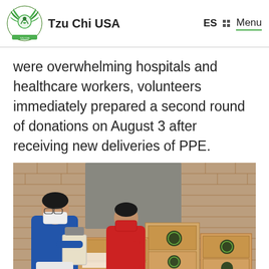Tzu Chi USA  ES  Menu
were overwhelming hospitals and healthcare workers, volunteers immediately prepared a second round of donations on August 3 after receiving new deliveries of PPE.
[Figure (photo): Two masked volunteers standing beside stacks of cardboard boxes labeled with Tzu Chi seals, outdoors in front of a brick building. One volunteer in a blue top holds a clipboard; another in red checks something on the boxes.]